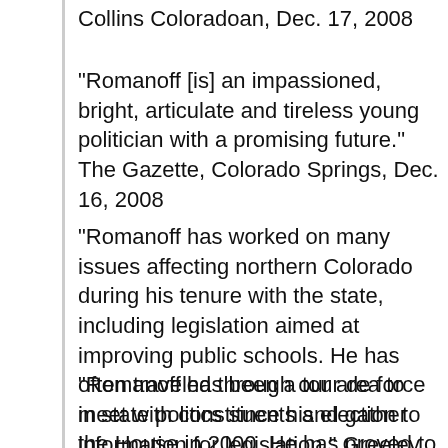Collins Coloradoan, Dec. 17, 2008
"Romanoff [is] an impassioned, bright, articulate and tireless young politician with a promising future." The Gazette, Colorado Springs, Dec. 16, 2008
"Romanoff has worked on many issues affecting northern Colorado during his tenure with the state, including legislation aimed at improving public schools. He has often traveled through our area to meet with constituents and gather information for legislation." Greeley Tribune, Dec. 26, 2008
"Romanoff has been a tour de force in state politics since his election to the House in 2000. He has proved to be an effective leader capable of bringing together divergent political viewpoints for